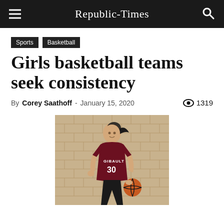Republic-Times
Sports  Basketball
Girls basketball teams seek consistency
By Corey Saathoff - January 15, 2020  1319
[Figure (photo): A Gibault High School girls basketball player wearing jersey number 30 dribbling a basketball in front of a brick wall background]